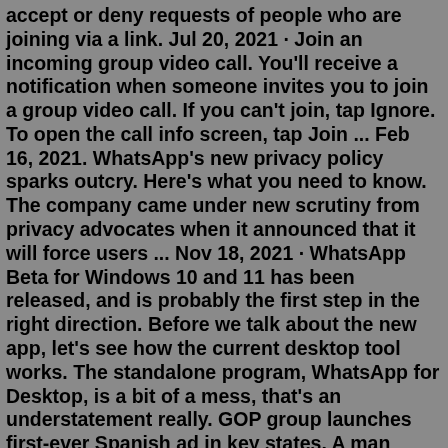accept or deny requests of people who are joining via a link. Jul 20, 2021 · Join an incoming group video call. You'll receive a notification when someone invites you to join a group video call. If you can't join, tap Ignore. To open the call info screen, tap Join ... Feb 16, 2021. WhatsApp's new privacy policy sparks outcry. Here's what you need to know. The company came under new scrutiny from privacy advocates when it announced that it will force users ... Nov 18, 2021 · WhatsApp Beta for Windows 10 and 11 has been released, and is probably the first step in the right direction. Before we talk about the new app, let's see how the current desktop tool works. The standalone program, WhatsApp for Desktop, is a bit of a mess, that's an understatement really. GOP group launches first-ever Spanish ad in key states. A man passes an early voting poll site, on Feb. 14, 2022, in San Antonio. Voters in heavily Hispanic parts of South Texas cast record ...Jul 24, 2022 · This WhatsApp group link india is many types of link for your work like YouTube , USA, Girls, Tamil,